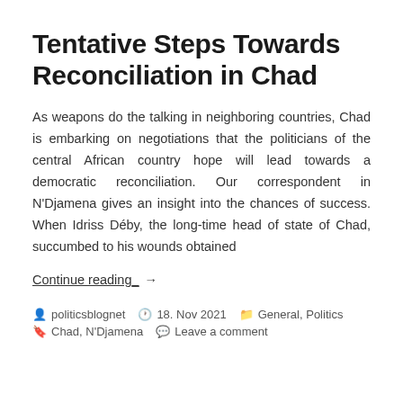Tentative Steps Towards Reconciliation in Chad
As weapons do the talking in neighboring countries, Chad is embarking on negotiations that the politicians of the central African country hope will lead towards a democratic reconciliation. Our correspondent in N'Djamena gives an insight into the chances of success. When Idriss Déby, the long-time head of state of Chad, succumbed to his wounds obtained
Continue reading →
politicsblognet  18. Nov 2021  General, Politics  Chad, N'Djamena  Leave a comment